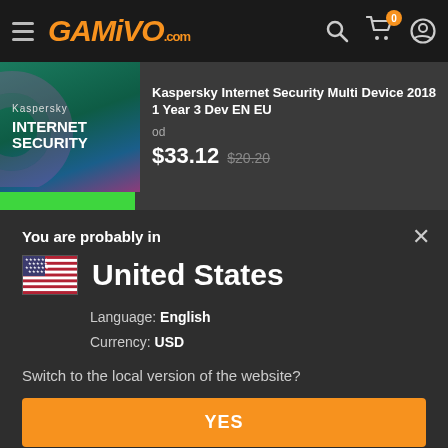GAMIVO.com
[Figure (screenshot): Kaspersky Internet Security product card showing product image on left and title/price on right]
Kaspersky Internet Security Multi Device 2018 1 Year 3 Dev EN EU
od $33.12 $20.20
You are probably in
United States
Language: English
Currency: USD
Switch to the local version of the website?
YES